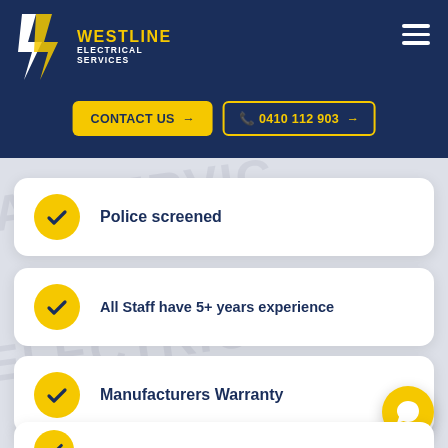[Figure (logo): Westline Electrical Services logo with yellow W icon and text on dark navy background header]
CONTACT US →
📞 0410 112 903 →
Police screened
All Staff have 5+ years experience
Manufacturers Warranty